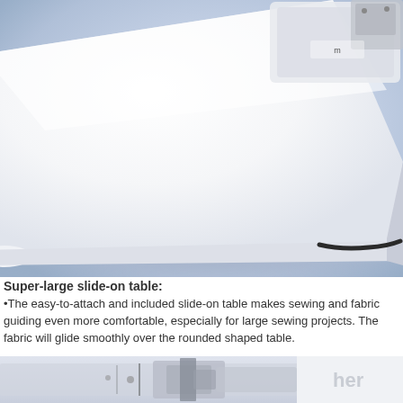[Figure (photo): Close-up photo of a white super-large slide-on sewing machine table with rounded edges, shown at an angle. The table is white/light gray with a smooth surface. A black cord/cable is visible underneath the right edge. Part of the sewing machine is visible in the upper right corner.]
Super-large slide-on table:
•The easy-to-attach and included slide-on table makes sewing and fabric guiding even more comfortable, especially for large sewing projects. The fabric will glide smoothly over the rounded shaped table.
[Figure (photo): Bottom strip showing partial view of sewing machine components and a partial logo/brand name starting with 'her' visible on the right side.]